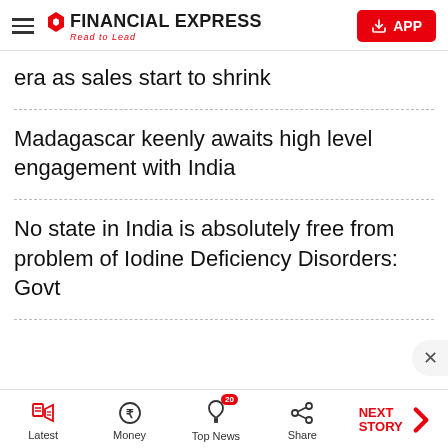Financial Express — Read to Lead | APP
era as sales start to shrink
Madagascar keenly awaits high level engagement with India
No state in India is absolutely free from problem of Iodine Deficiency Disorders: Govt
Latest | Money | Top News 20 | Share | NEXT STORY